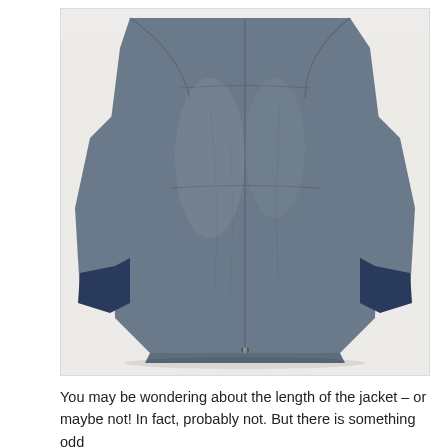[Figure (photo): Back view of a grey/navy blue jacket laid flat against a white background. The jacket has a center back seam, navy blue cuffs/sleeve trim, and a zipper at the hem center back. The jacket body is medium grey with some wrinkles visible.]
You may be wondering about the length of the jacket – or maybe not! In fact, probably not. But there is something odd